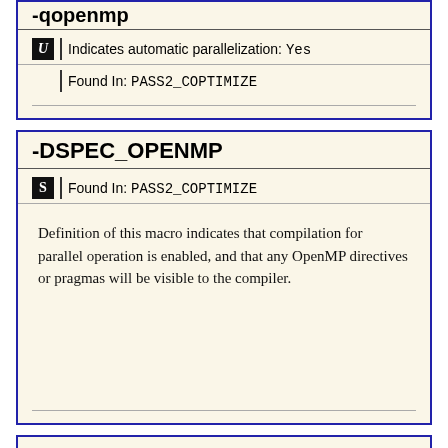-qopenmp
Indicates automatic parallelization: Yes
Found In: PASS2_COPTIMIZE
-DSPEC_OPENMP
Found In: PASS2_COPTIMIZE
Definition of this macro indicates that compilation for parallel operation is enabled, and that any OpenMP directives or pragmas will be visible to the compiler.
-L/usr/local/je5.0.1-64/lib